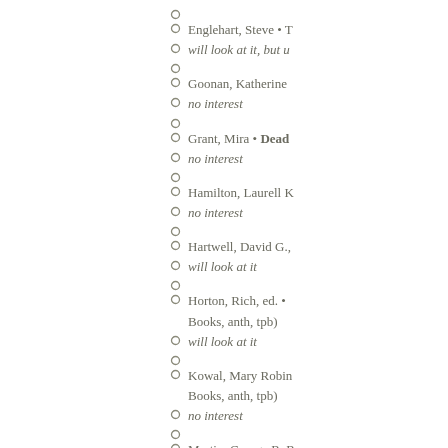Englehart, Steve • T
will look at it, but u
Goonan, Katherine
no interest
Grant, Mira • Dead
no interest
Hamilton, Laurell K
no interest
Hartwell, David G.,
will look at it
Horton, Rich, ed. • Books, anth, tpb)
will look at it
Kowal, Mary Robin Books, anth, tpb)
no interest
Martin, George R. R
no interest